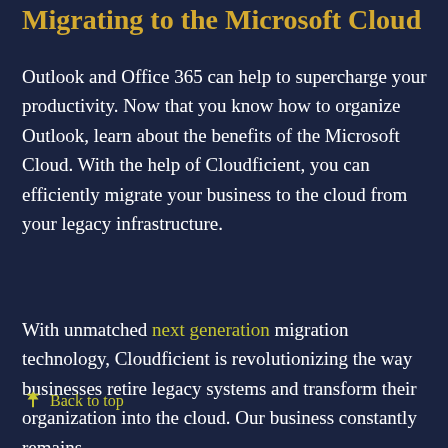Migrating to the Microsoft Cloud
Outlook and Office 365 can help to supercharge your productivity. Now that you know how to organize Outlook, learn about the benefits of the Microsoft Cloud. With the help of Cloudficient, you can efficiently migrate your business to the cloud from your legacy infrastructure.
With unmatched next generation migration technology, Cloudficient is revolutionizing the way businesses retire legacy systems and transform their organization into the cloud. Our business constantly remains
Back to top